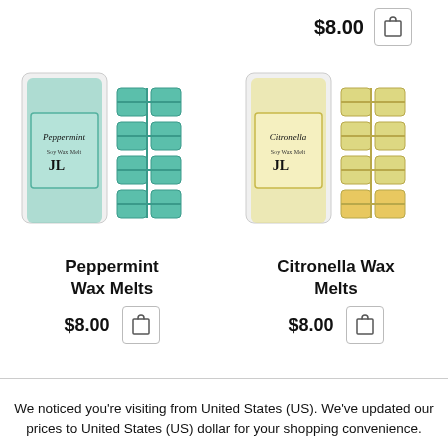$8.00
[Figure (photo): Peppermint Soy Wax Melt product packaging showing teal/mint colored wax cubes with branded label and loose wax cubes]
[Figure (photo): Citronella Soy Wax Melt product packaging showing yellow colored wax cubes with branded label and loose wax cubes]
Peppermint Wax Melts
$8.00
Citronella Wax Melts
$8.00
We noticed you're visiting from United States (US). We've updated our prices to United States (US) dollar for your shopping convenience.